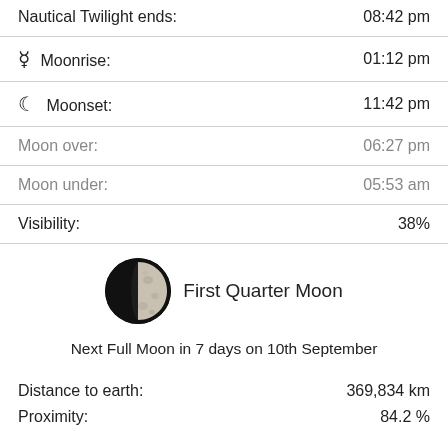Nautical Twilight ends: 08:42 pm
Moonrise: 01:12 pm
Moonset: 11:42 pm
Moon over: 06:27 pm
Moon under: 05:53 am
Visibility: 38%
[Figure (photo): First Quarter Moon phase image — circle photo of moon showing right half illuminated]
First Quarter Moon
Next Full Moon in 7 days on 10th September
Distance to earth: 369,834 km
Proximity: 84.2 %